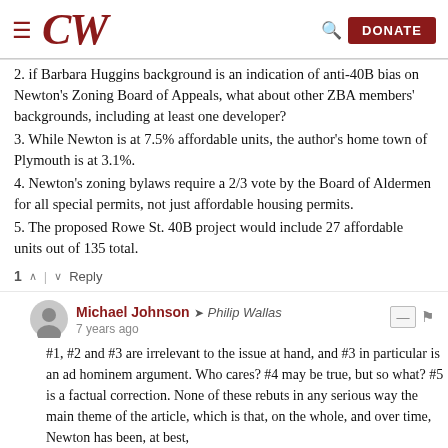CW | DONATE
2. if Barbara Huggins background is an indication of anti-40B bias on Newton's Zoning Board of Appeals, what about other ZBA members' backgrounds, including at least one developer?
3. While Newton is at 7.5% affordable units, the author's home town of Plymouth is at 3.1%.
4. Newton's zoning bylaws require a 2/3 vote by the Board of Aldermen for all special permits, not just affordable housing permits.
5. The proposed Rowe St. 40B project would include 27 affordable units out of 135 total.
1 ^ | v Reply
Michael Johnson → Philip Wallas
7 years ago
#1, #2 and #3 are irrelevant to the issue at hand, and #3 in particular is an ad hominem argument. Who cares? #4 may be true, but so what? #5 is a factual correction. None of these rebuts in any serious way the main theme of the article, which is that, on the whole, and over time, Newton has been, at best,